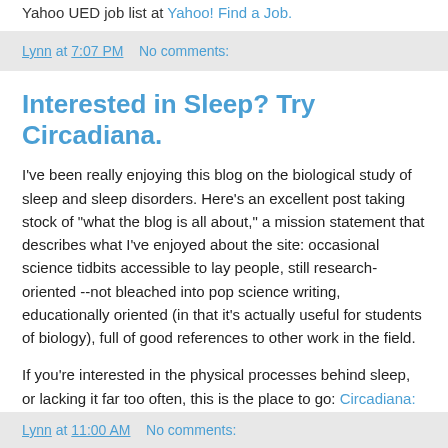Yahoo UED job list at Yahoo! Find a Job.
Lynn at 7:07 PM   No comments:
Interested in Sleep? Try Circadiana.
I've been really enjoying this blog on the biological study of sleep and sleep disorders. Here's an excellent post taking stock of "what the blog is all about," a mission statement that describes what I've enjoyed about the site: occasional science tidbits accessible to lay people, still research-oriented --not bleached into pop science writing, educationally oriented (in that it's actually useful for students of biology), full of good references to other work in the field.
If you're interested in the physical processes behind sleep, or lacking it far too often, this is the place to go: Circadiana: Quarterly Summary.
Lynn at 11:00 AM   No comments: